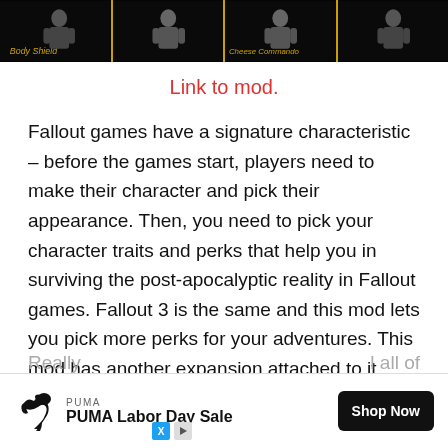[Figure (screenshot): Dark banner image showing Fallout game mod character thumbnails with golden text labels 'Body Shield' and 'Cheese Commando' on black background with gold dividers]
Link to mod.
Fallout games have a signature characteristic – before the games start, players need to make their character and pick their appearance. Then, you need to pick your character traits and perks that help you in surviving the post-apocalyptic reality in Fallout games. Fallout 3 is the same and this mod lets you pick more perks for your adventures. This mod has another expansion attached to it called Perk Pack 2, where the author has added new perks to the game.
Really ... all of Fallou...
[Figure (screenshot): PUMA advertisement banner: Puma logo with leaping cat, text 'PUMA Labor Day Sale', black 'Shop Now' button]